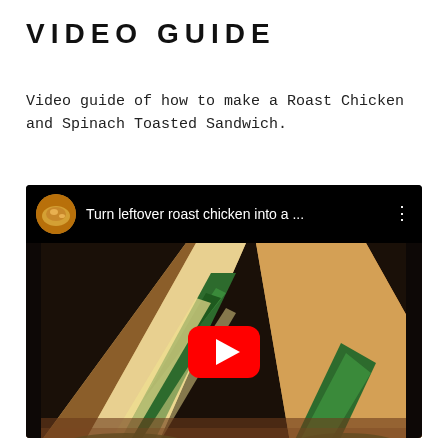VIDEO GUIDE
Video guide of how to make a Roast Chicken and Spinach Toasted Sandwich.
[Figure (screenshot): YouTube video thumbnail showing a toasted sandwich with spinach and chicken filling, cut in half. YouTube top bar reads 'Turn leftover roast chicken into a ...' with a channel avatar. A red YouTube play button is overlaid in the center of the video.]